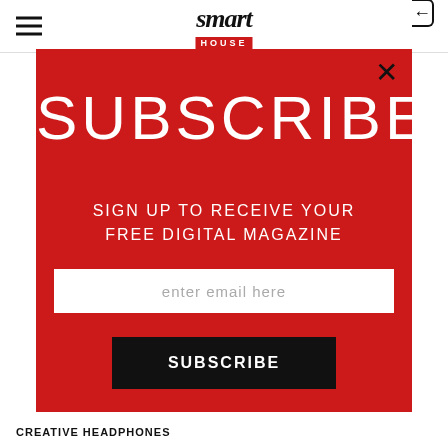smart HOUSE
SUBSCRIBE
SIGN UP TO RECEIVE YOUR FREE DIGITAL MAGAZINE
enter email here
SUBSCRIBE
CREATIVE HEADPHONES